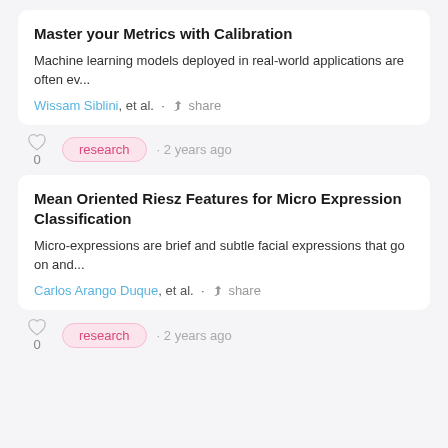Master your Metrics with Calibration
Machine learning models deployed in real-world applications are often ev...
Wissam Siblini, et al. · share
research · 2 years ago
Mean Oriented Riesz Features for Micro Expression Classification
Micro-expressions are brief and subtle facial expressions that go on and...
Carlos Arango Duque, et al. · share
research · 2 years ago